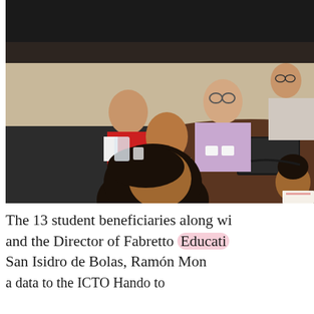[Figure (photo): A group of children and adults seated around a conference table in a meeting room. Children in red and white shirts are visible in the foreground, along with an older man in a light purple shirt with a laptop, and a woman with glasses in the background.]
The 13 student beneficiaries along wi and the Director of Fabretto Educati San Isidro de Bolas, Ramón Mon and a data to the ICTO Handa to